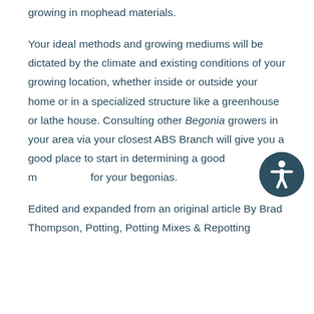growing in mophead materials.
Your ideal methods and growing mediums will be dictated by the climate and existing conditions of your growing location, whether inside or outside your home or in a specialized structure like a greenhouse or lathe house. Consulting other Begonia growers in your area via your closest ABS Branch will give you a good place to start in determining a good mix for your begonias.
Edited and expanded from an original article By Brad Thompson, Potting, Potting Mixes & Repotting